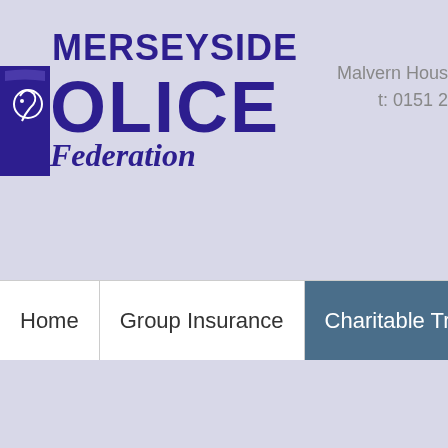[Figure (logo): Merseyside Police Federation logo with shield icon, bold purple text reading MERSEYSIDE POLICE Federation]
Malvern House
t: 0151 25
Home
Group Insurance
Charitable Trust
Re